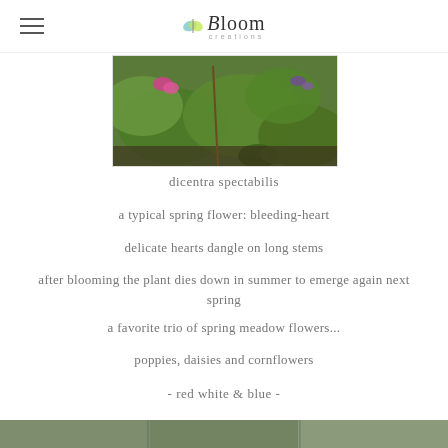Bloom creations
[Figure (photo): Close-up photo of green leafy plants with a pink bleeding-heart flower visible, garden setting]
dicentra spectabilis
a typical spring flower: bleeding-heart
delicate hearts dangle on long stems
after blooming the plant dies down in summer to emerge again next spring
a favorite trio of spring meadow flowers...
poppies, daisies and cornflowers
- red white & blue -
[Figure (photo): Partial view of spring meadow flowers at the bottom of the page]